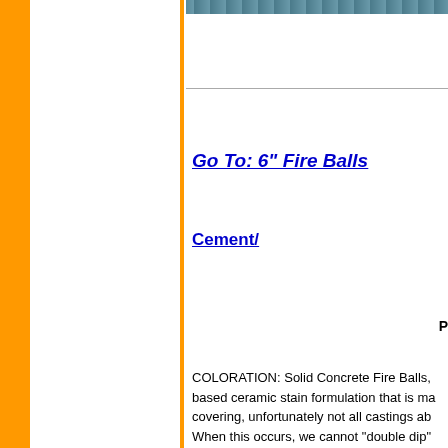[Figure (photo): Partial photo strip at top of content area showing a blurred outdoor/nature scene]
Go To:  6" Fire Balls
Cement/
P
COLORATION: Solid Concrete Fire Balls, based ceramic stain formulation that is ma covering, unfortunately not all castings ab When this occurs, we cannot "double dip"